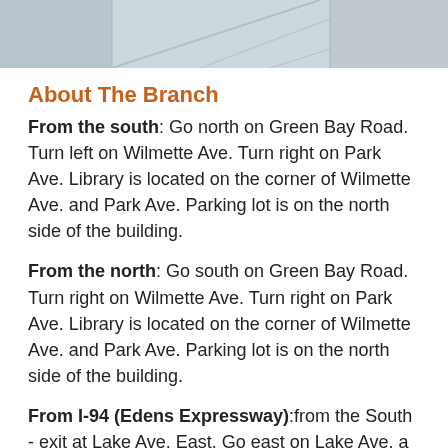[Figure (photo): Partial view of a concrete or stone surface, likely the exterior of a library building, showing angled architectural lines.]
About The Branch
From the south: Go north on Green Bay Road. Turn left on Wilmette Ave. Turn right on Park Ave. Library is located on the corner of Wilmette Ave. and Park Ave. Parking lot is on the north side of the building.
From the north: Go south on Green Bay Road. Turn right on Wilmette Ave. Turn right on Park Ave. Library is located on the corner of Wilmette Ave. and Park Ave. Parking lot is on the north side of the building.
From I-94 (Edens Expressway):from the South - exit at Lake Ave. East. Go east on Lake Ave. a little over 2 miles. Turn right on Park Ave. • from the North - exit at Rt. 41/Skokie Blvd. Turn left (east) on Lake Ave. Go east on
Upcoming events